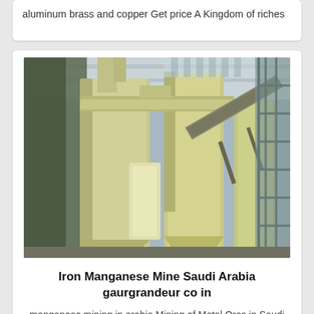aluminum brass and copper Get price A Kingdom of riches
[Figure (photo): Industrial mining or processing facility interior showing large yellow/cream colored cylindrical machinery, pipes, conveyor belts and structural scaffolding]
Iron Manganese Mine Saudi Arabia gaurgrandeur co in
manganese mining in arabia Mining of Metal Ores in Saudi Arabia ISIC 13 Steel producers in Saudi Arabia hike production output by 15 in 2014 boosting demand for iron ore